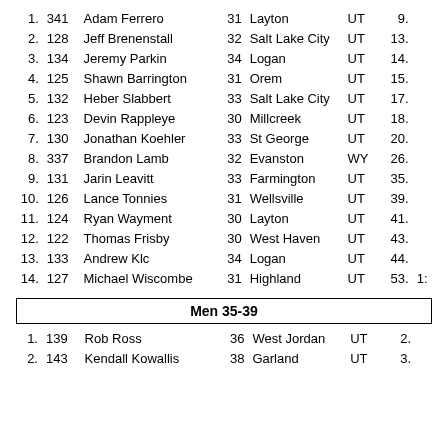| Rank | Bib | Name | Age | City | State | Time |  |
| --- | --- | --- | --- | --- | --- | --- | --- |
| 1. | 341 | Adam Ferrero | 31 | Layton | UT | 9. |  |
| 2. | 128 | Jeff Brenenstall | 32 | Salt Lake City | UT | 13. |  |
| 3. | 134 | Jeremy Parkin | 34 | Logan | UT | 14. |  |
| 4. | 125 | Shawn Barrington | 31 | Orem | UT | 15. |  |
| 5. | 132 | Heber Slabbert | 33 | Salt Lake City | UT | 17. |  |
| 6. | 123 | Devin Rappleye | 30 | Millcreek | UT | 18. |  |
| 7. | 130 | Jonathan Koehler | 33 | St George | UT | 20. |  |
| 8. | 337 | Brandon Lamb | 32 | Evanston | WY | 26. |  |
| 9. | 131 | Jarin Leavitt | 33 | Farmington | UT | 35. |  |
| 10. | 126 | Lance Tonnies | 31 | Wellsville | UT | 39. |  |
| 11. | 124 | Ryan Wayment | 30 | Layton | UT | 41. |  |
| 12. | 122 | Thomas Frisby | 30 | West Haven | UT | 43. |  |
| 13. | 133 | Andrew Klc | 34 | Logan | UT | 44. |  |
| 14. | 127 | Michael Wiscombe | 31 | Highland | UT | 53. | 1: |
Men 35-39
| Rank | Bib | Name | Age | City | State | Time |
| --- | --- | --- | --- | --- | --- | --- |
| 1. | 139 | Rob Ross | 36 | West Jordan | UT | 2. |
| 2. | 143 | Kendall Kowallis | 38 | Garland | UT | 3. |